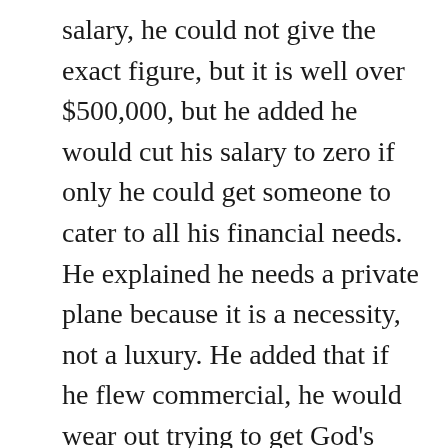salary, he could not give the exact figure, but it is well over $500,000, but he added he would cut his salary to zero if only he could get someone to cater to all his financial needs. He explained he needs a private plane because it is a necessity, not a luxury. He added that if he flew commercial, he would wear out trying to get God’s word around the world.
[Figure (other): Advertisement banner with purple/lavender background showing a book cover on the left and text on the right reading: “A science fiction spy thriller…brilliantly insightful scientific speculation… meticulously described”. Has a play/ad icon at top and a close (X) button.]